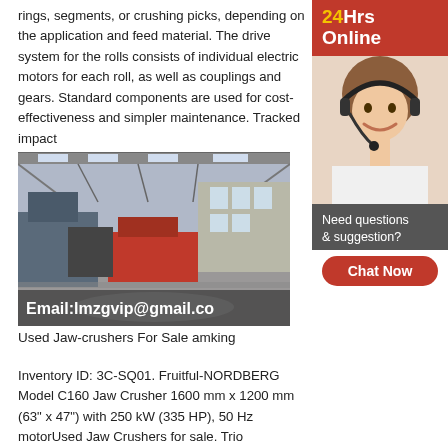rings, segments, or crushing picks, depending on the application and feed material. The drive system for the rolls consists of individual electric motors for each roll, as well as couplings and gears. Standard components are used for cost-effectiveness and simpler maintenance. Tracked impact
[Figure (infographic): Red banner reading '24Hrs Online' in yellow and white text, followed by a photo of a smiling female customer service agent wearing a headset, then a dark grey box reading 'Need questions & suggestion?' with a red oval 'Chat Now' button]
[Figure (photo): Interior of a large industrial manufacturing facility or exhibition hall with heavy machinery, red equipment visible, high ceilings with skylights, overlaid with text 'Email:lmzgvip@gmail.co']
Used Jaw-crushers For Sale amking
Inventory ID: 3C-SQ01. Fruitful-NORDBERG Model C160 Jaw Crusher 1600 mm x 1200 mm (63" x 47") with 250 kW (335 HP), 50 Hz motorUsed Jaw Crushers for sale. Trio equipment & more ,2000 TRIO 3242 Jaw Crusher Crusher. Manufacturer: Trio Used